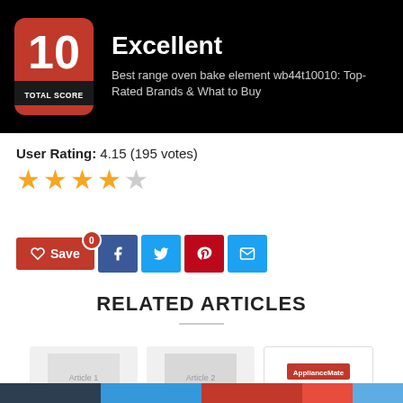[Figure (infographic): Score badge showing 10 TOTAL SCORE on red/black badge, with title 'Excellent' and subtitle 'Best range oven bake element wb44t10010: Top-Rated Brands & What to Buy' on black background]
User Rating: 4.15 (195 votes)
[Figure (infographic): 4 filled gold stars and 1 empty grey star representing a rating of 4.15 out of 5]
[Figure (infographic): Social sharing buttons: Save (heart icon), Facebook, Twitter, Pinterest, Email]
RELATED ARTICLES
[Figure (photo): Three partially visible article thumbnails at the bottom of the page]